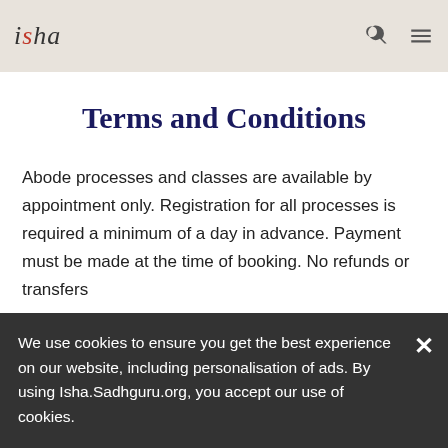isha
Terms and Conditions
Abode processes and classes are available by appointment only. Registration for all processes is required a minimum of a day in advance. Payment must be made at the time of booking. No refunds or transfers
We use cookies to ensure you get the best experience on our website, including personalisation of ads. By using Isha.Sadhguru.org, you accept our use of cookies.